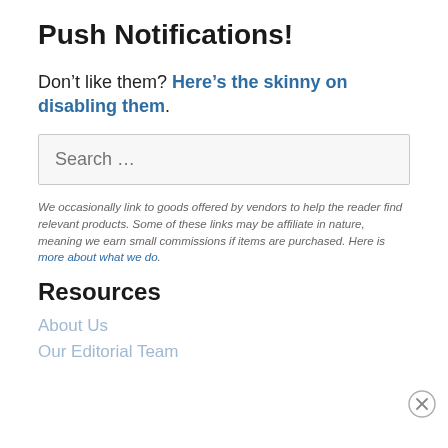Push Notifications!
Don't like them? Here's the skinny on disabling them.
[Figure (other): Search input box with placeholder text 'Search …']
We occasionally link to goods offered by vendors to help the reader find relevant products. Some of these links may be affiliate in nature, meaning we earn small commissions if items are purchased. Here is more about what we do.
Resources
About Us
Our Editorial Team